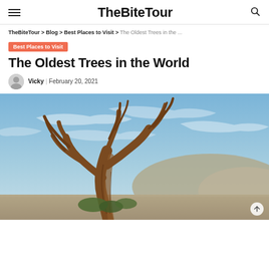TheBiteTour
TheBiteTour > Blog > Best Places to Visit > The Oldest Trees in the ...
Best Places to Visit
The Oldest Trees in the World
Vicky | February 20, 2021
[Figure (photo): An ancient gnarled bristlecone pine tree with twisted orange-brown bark against a blue sky with wispy clouds and desert hills in the background.]